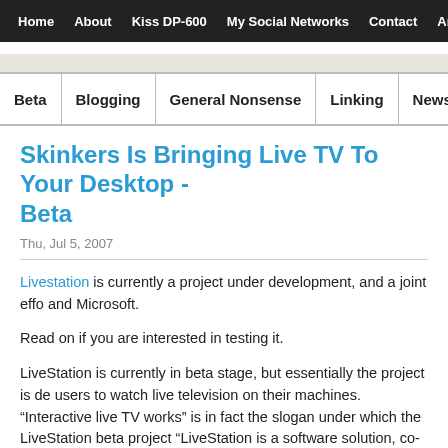Home  About  Kiss DP-600  My Social Networks  Contact  Archive
Beta  Blogging  General Nonsense  Linking  News  Te
Skinkers Is Bringing Live TV To Your Desktop - Beta
Thu, Jul 5, 2007
Livestation is currently a project under development, and a joint effo… and Microsoft.
Read on if you are interested in testing it.
LiveStation is currently in beta stage, but essentially the project is de… users to watch live television on their machines. "Interactive live TV works" is in fact the slogan under which the LiveStation beta project… "LiveStation is a software solution, co-developed with Microsoft Res… allow… users to watch live television on their internet-enabled b…